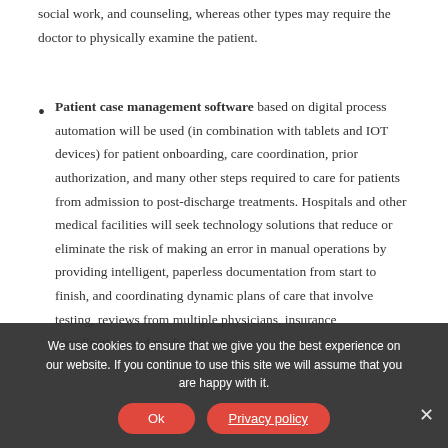social work, and counseling, whereas other types may require the doctor to physically examine the patient.
Patient case management software based on digital process automation will be used (in combination with tablets and IOT devices) for patient onboarding, care coordination, prior authorization, and many other steps required to care for patients from admission to post-discharge treatments. Hospitals and other medical facilities will seek technology solutions that reduce or eliminate the risk of making an error in manual operations by providing intelligent, paperless documentation from start to finish, and coordinating dynamic plans of care that involve testing, reviews from multiple physicians, insurance coordination, and medical inputs
We use cookies to ensure that we give you the best experience on our website. If you continue to use this site we will assume that you are happy with it.